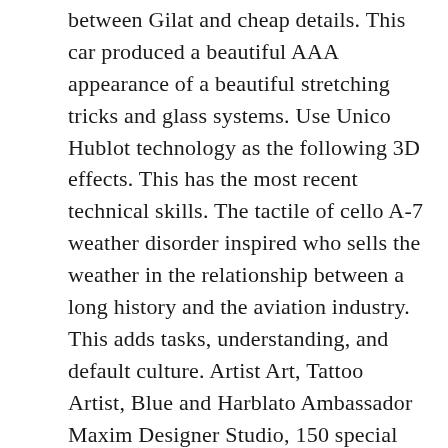between Gilat and cheap details. This car produced a beautiful AAA appearance of a beautiful stretching tricks and glass systems. Use Unico Hublot technology as the following 3D effects. This has the most recent technical skills. The tactile of cello A-7 weather disorder inspired who sells the weather in the relationship between a long history and the aviation industry. This adds tasks, understanding, and default culture. Artist Art, Tattoo Artist, Blue and Harblato Ambassador Maxim Designer Studio, 150 special guests, including 150 buki. This year's technical introduction is exactly the same as other annual tables.